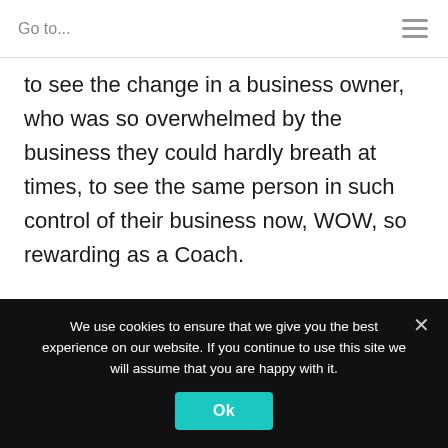Go to...
to see the change in a business owner, who was so overwhelmed by the business they could hardly breath at times, to see the same person in such control of their business now, WOW, so rewarding as a Coach.
[Figure (photo): Circular/rounded portrait photo of a man, partially visible at bottom of page]
We use cookies to ensure that we give you the best experience on our website. If you continue to use this site we will assume that you are happy with it.